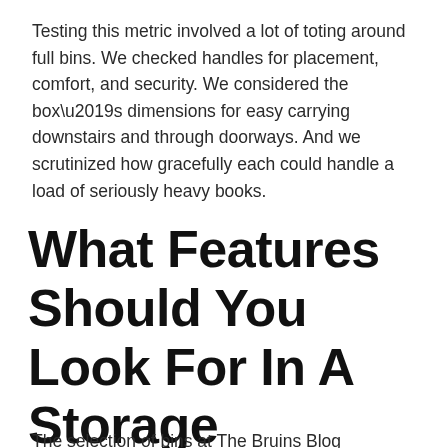Testing this metric involved a lot of toting around full bins. We checked handles for placement, comfort, and security. We considered the box’s dimensions for easy carrying downstairs and through doorways. And we scrutinized how gracefully each could handle a load of seriously heavy books.
What Features Should You Look For In A Storage Rectangle Box?
The selection of bins at The Bruins Blog